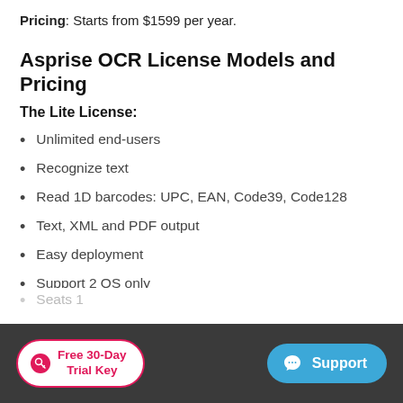Pricing: Starts from $1599 per year.
Asprise OCR License Models and Pricing
The Lite License:
Unlimited end-users
Recognize text
Read 1D barcodes: UPC, EAN, Code39, Code128
Text, XML and PDF output
Easy deployment
Support 2 OS only
Seats 1
Su...